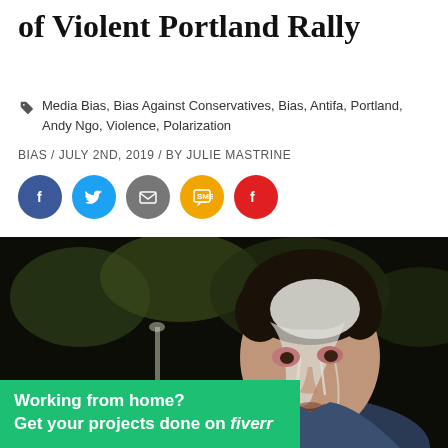of Violent Portland Rally
Media Bias, Bias Against Conservatives, Bias, Antifa, Portland, Andy Ngo, Violence, Polarization
BIAS / JULY 2ND, 2019 / BY JULIE MASTRINE
[Figure (other): Social share buttons: Facebook (blue), Twitter (blue), Email (gray), SMS (yellow/orange), Flipboard (red)]
[Figure (photo): A person with white substance covering their face and hair, looking distressed, outdoors with dark background.]
Working from home? Get your projects done on fiverr